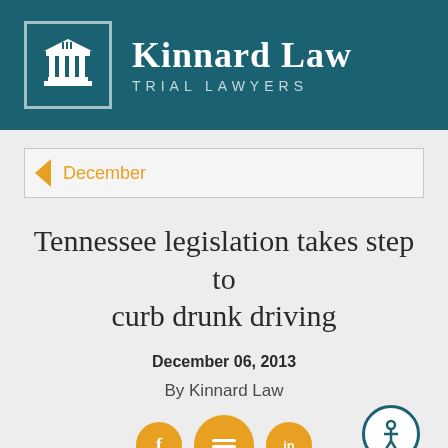[Figure (logo): Kinnard Law Trial Lawyers logo with courthouse/columns icon in teal header]
December
Tennessee legislation takes step to curb drunk driving
December 06, 2013
By Kinnard Law
[Figure (illustration): Social media share buttons (Facebook, share, LinkedIn) as gold circles, and an accessibility button (person in circle) on the right]